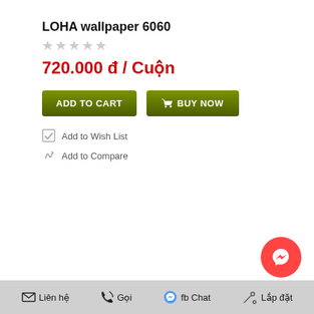LOHA wallpaper 6060
720.000 đ / Cuộn
[Figure (screenshot): Product page UI with ADD TO CART and BUY NOW buttons]
Add to Wish List
Add to Compare
Liên hệ  Gọi  fb Chat  Lắp đặt